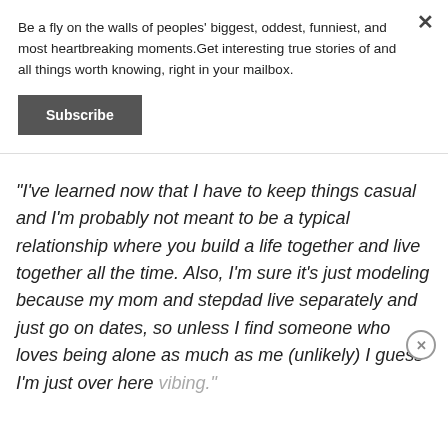Be a fly on the walls of peoples' biggest, oddest, funniest, and most heartbreaking moments.Get interesting true stories of and all things worth knowing, right in your mailbox.
Subscribe
"I've learned now that I have to keep things casual and I'm probably not meant to be a typical relationship where you build a life together and live together all the time. Also, I'm sure it's just modeling because my mom and stepdad live separately and just go on dates, so unless I find someone who loves being alone as much as me (unlikely) I guess I'm just over here vibing."